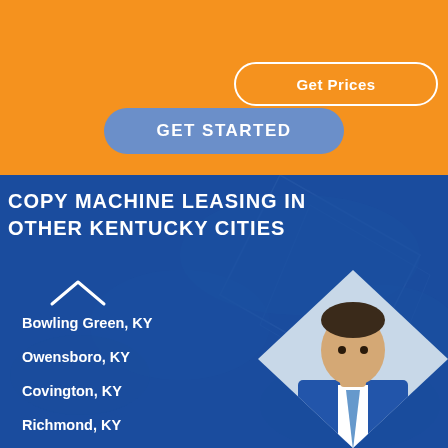[Figure (screenshot): Orange banner with Get Prices button and GET STARTED button on a website page for copy machine leasing]
COPY MACHINE LEASING IN OTHER KENTUCKY CITIES
Bowling Green, KY
Owensboro, KY
Covington, KY
Richmond, KY
Hopkinsville, KY